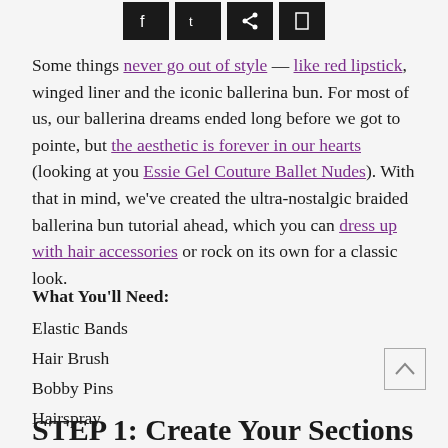[Figure (other): Four social media share/action icon buttons (dark squares) at the top of the page]
Some things never go out of style — like red lipstick, winged liner and the iconic ballerina bun. For most of us, our ballerina dreams ended long before we got to pointe, but the aesthetic is forever in our hearts (looking at you Essie Gel Couture Ballet Nudes). With that in mind, we've created the ultra-nostalgic braided ballerina bun tutorial ahead, which you can dress up with hair accessories or rock on its own for a classic look.
What You'll Need:
Elastic Bands
Hair Brush
Bobby Pins
Hairspray
STEP 1: Create Your Sections